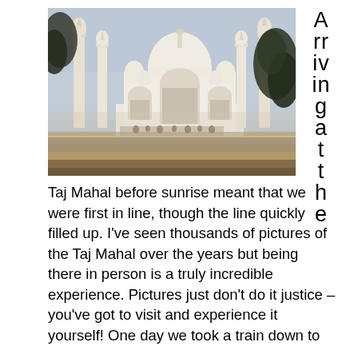[Figure (photo): Photo of the Taj Mahal taken before sunrise, showing the white marble mausoleum with its central dome, minarets, and ornate archways. Trees are visible on the right side. The sky appears hazy/misty in early morning light.]
Arriving at the
Taj Mahal before sunrise meant that we were first in line, though the line quickly filled up. I've seen thousands of pictures of the Taj Mahal over the years but being there in person is a truly incredible experience. Pictures just don't do it justice – you've got to visit and experience it yourself! One day we took a train down to